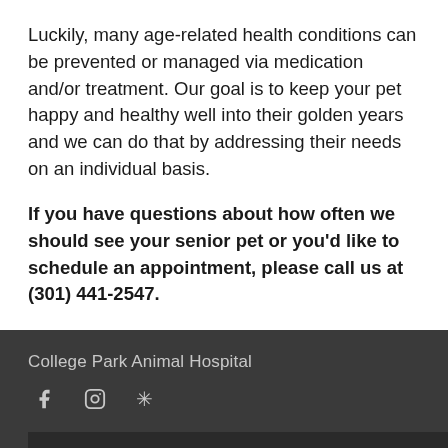Luckily, many age-related health conditions can be prevented or managed via medication and/or treatment. Our goal is to keep your pet happy and healthy well into their golden years and we can do that by addressing their needs on an individual basis.
If you have questions about how often we should see your senior pet or you'd like to schedule an appointment, please call us at (301) 441-2547.
College Park Animal Hospital